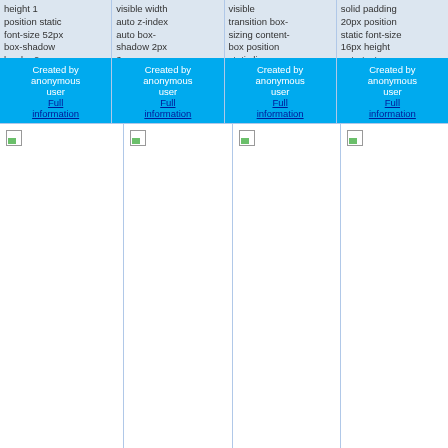height 1 position static font-size 52px box-shadow border 0px
visible width auto z-index auto box-shadow 2px 2px
visible transition box-sizing content-box position static line-
solid padding 20px position static font-size 16px height auto text-
Created by anonymous user Full information
Created by anonymous user Full information
Created by anonymous user Full information
Created by anonymous user Full information
[Figure (screenshot): Broken image placeholder, tall white rectangle]
[Figure (screenshot): Broken image placeholder, tall white rectangle]
[Figure (screenshot): Broken image placeholder, tall white rectangle]
[Figure (screenshot): Broken image placeholder, tall white rectangle]
1 | 2 | 3 | 4 | 5 | 6 | 7 | 8 | 9 | 10 | 11 | 12 | 13 | 14 | 15 | 16